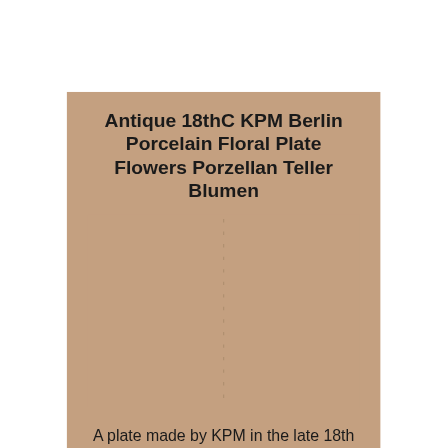Antique 18thC KPM Berlin Porcelain Floral Plate Flowers Porzellan Teller Blumen
[Figure (other): Image area placeholder with dots (image not fully visible) on a tan/beige background]
A plate made by KPM in the late 18th or early 19 century. A nicely shaped piece with a brown trim to the edge, two larger flowers along the rim as well as